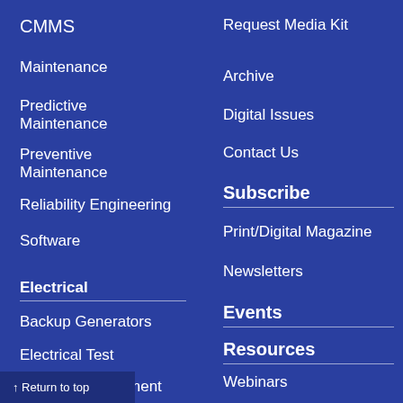CMMS
Maintenance
Predictive Maintenance
Preventive Maintenance
Reliability Engineering
Software
Electrical
Backup Generators
Electrical Test
Energy Management
...ycle
Advertise
Request Media Kit
Archive
Digital Issues
Contact Us
Subscribe
Print/Digital Magazine
Newsletters
Events
Resources
Webinars
Podcasts
↑ Return to top